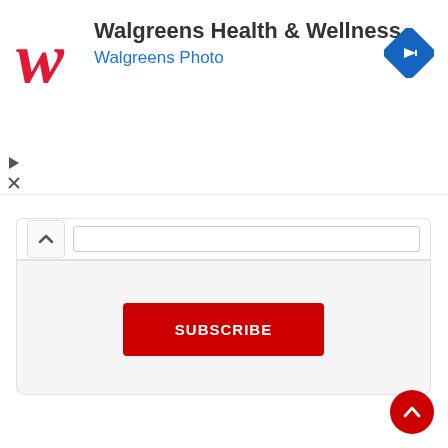[Figure (screenshot): Walgreens Health & Wellness ad banner with Walgreens cursive W logo in red, title text 'Walgreens Health & Wellness', subtitle 'Walgreens Photo' in blue, and a blue diamond navigation icon on the right.]
[Figure (screenshot): Web UI elements: a collapse/chevron bar with up-arrow button and input field, a red SUBSCRIBE button, and a red circular back-to-top button with chevron up arrow at bottom right.]